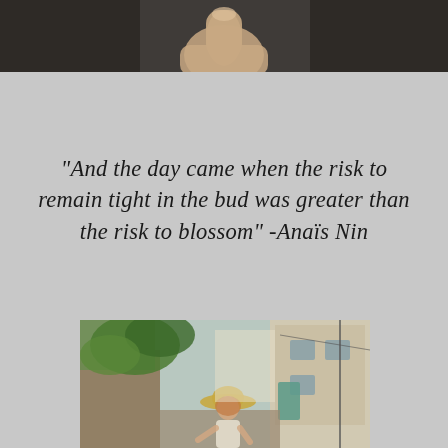[Figure (photo): Close-up photo of a person's hand giving a thumbs up gesture, seen from below against a blurred background.]
"And the day came when the risk to remain tight in the bud was greater than the risk to blossom" -Anaïs Nin
[Figure (photo): A smiling young woman wearing a wide-brimmed straw hat and light clothing, standing in a narrow European-style alley with stone buildings and green foliage.]